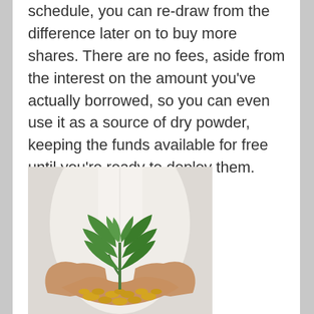schedule, you can re-draw from the difference later on to buy more shares. There are no fees, aside from the interest on the amount you've actually borrowed, so you can even use it as a source of dry powder, keeping the funds available for free until you're ready to deploy them.
[Figure (photo): Photo of hands cupping a pile of coins with a small green plant growing from them, person wearing white shirt in background]